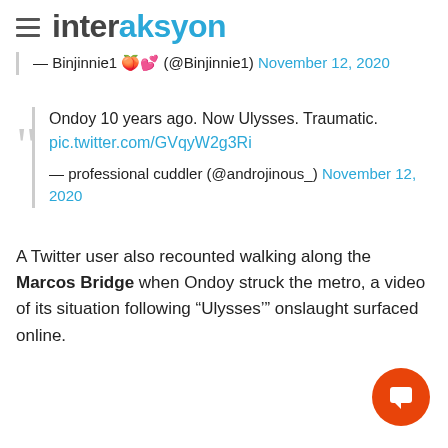interaksyon
— Binjinnie1 🍑💕 (@Binjinnie1) November 12, 2020
Ondoy 10 years ago. Now Ulysses. Traumatic. pic.twitter.com/GVqyW2g3Ri — professional cuddler (@androjinous_) November 12, 2020
A Twitter user also recounted walking along the Marcos Bridge when Ondoy struck the metro, a video of its situation following "Ulysses'" onslaught surfaced online.